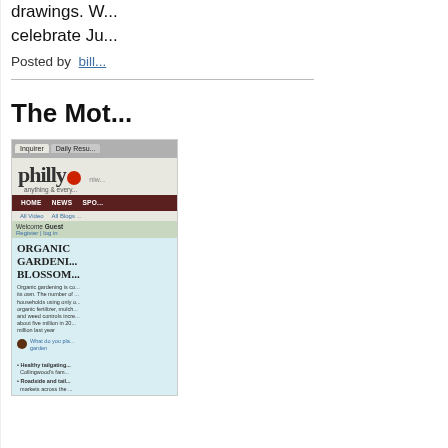drawings. W... celebrate Ju...
Posted by  bill...
The Mot...
[Figure (screenshot): Screenshot of philly.com website showing the homepage with Inquirer and Daily News tabs, philly logo with red dot, navigation bar in dark red with HOME, NEWS, SPO... items, All Video, All Blogs links, Welcome Guest section, and an article titled ORGANIC GARDENING BLOSSOM... with body text about organic gardening, a poll question, and bullet links about Collingwood's farm, roadside markets, creating a lasting economy, and more green news features.]